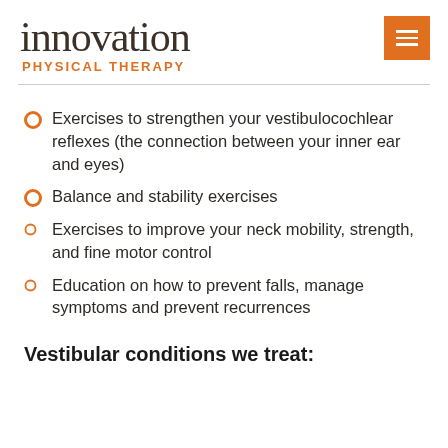innovation PHYSICAL THERAPY
Exercises to strengthen your vestibulocochlear reflexes (the connection between your inner ear and eyes)
Balance and stability exercises
Exercises to improve your neck mobility, strength, and fine motor control
Education on how to prevent falls, manage symptoms and prevent recurrences
Vestibular conditions we treat: